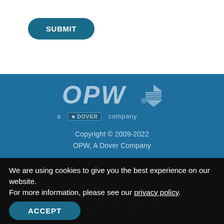SUBMIT
[Figure (logo): OPW logo with diamond/stack icon and 'a DOVER company' tagline]
Copyright © 2009-2022
OPW, A Dover Company
We are using cookies to give you the best experience on our website.
For more information, please see our privacy policy.
ACCEPT